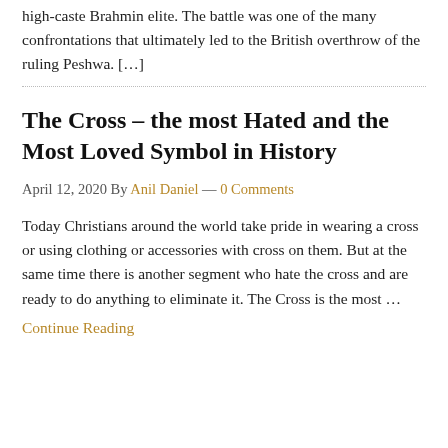2,000-person battalion composed almost entirely of high-caste Brahmin elite. The battle was one of the many confrontations that ultimately led to the British overthrow of the ruling Peshwa. […]
The Cross – the most Hated and the Most Loved Symbol in History
April 12, 2020 By Anil Daniel — 0 Comments
Today Christians around the world take pride in wearing a cross or using clothing or accessories with cross on them. But at the same time there is another segment who hate the cross and are ready to do anything to eliminate it. The Cross is the most …
Continue Reading